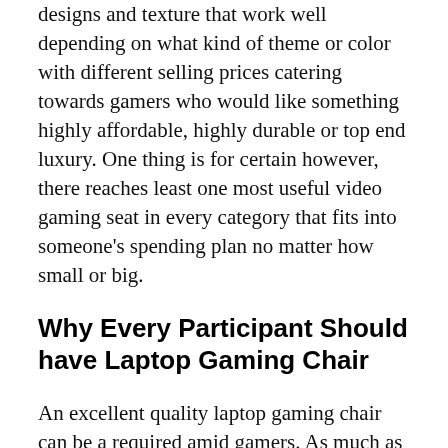designs and texture that work well depending on what kind of theme or color with different selling prices catering towards gamers who would like something highly affordable, highly durable or top end luxury. One thing is for certain however, there reaches least one most useful video gaming seat in every category that fits into someone's spending plan no matter how small or big.
Why Every Participant Should have Laptop Gaming Chair
An excellent quality laptop gaming chair can be a required amid gamers. As much as a thrill gaming is, prolonged hrs of sitting before a pc procedure could have undesirable outcomes if protection measures aren't taken. Gaming chairs are primarily made to offer avid gamers the utmost seating environment to